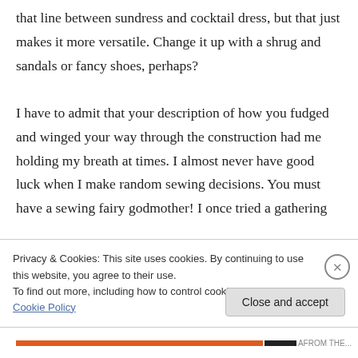that line between sundress and cocktail dress, but that just makes it more versatile. Change it up with a shrug and sandals or fancy shoes, perhaps?

I have to admit that your description of how you fudged and winged your way through the construction had me holding my breath at times. I almost never have good luck when I make random sewing decisions. You must have a sewing fairy godmother! I once tried a gathering
Privacy & Cookies: This site uses cookies. By continuing to use this website, you agree to their use.
To find out more, including how to control cookies, see here: Cookie Policy
Close and accept